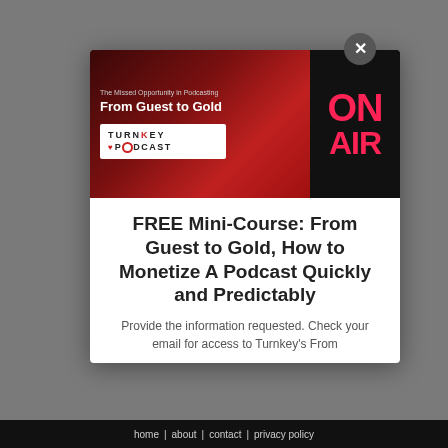[Figure (screenshot): Podcast promotional image for 'From Guest to Gold' mini-course, showing the Turnkey Podcast logo on a dark red background with an 'ON AIR' sign glowing in pink/red on the right side. Text reads 'The Missed Opportunity in Podcasting / From Guest to Gold']
FREE Mini-Course: From Guest to Gold, How to Monetize A Podcast Quickly and Predictably
Provide the information requested. Check your email for access to Turnkey's From
home | about | contact | privacy policy